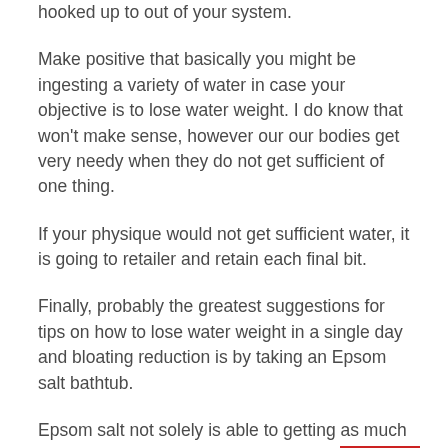hooked up to out of your system.
Make positive that basically you might be ingesting a variety of water in case your objective is to lose water weight. I do know that won't make sense, however our our bodies get very needy when they do not get sufficient of one thing.
If your physique would not get sufficient water, it is going to retailer and retain each final bit.
Finally, probably the greatest suggestions for tips on how to lose water weight in a single day and bloating reduction is by taking an Epsom salt bathtub.
Epsom salt not solely is able to getting as much as 5 lbs of water out of your physique. It can be a really approach to get toxins out of your system and enable you to really feel rejuvenated. Try it out subsequent time you